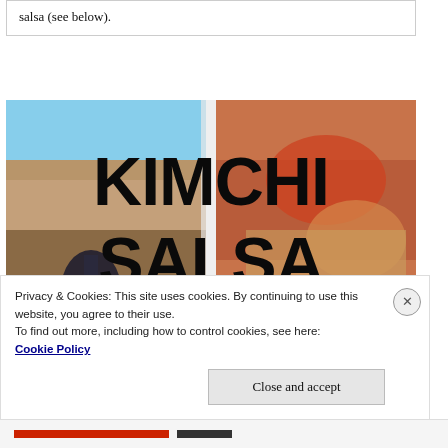salsa (see below).
[Figure (photo): Food photo with large bold text reading KIMCHI SALSA overlaid on a blurred background of food and landscape images]
Privacy & Cookies: This site uses cookies. By continuing to use this website, you agree to their use.
To find out more, including how to control cookies, see here: Cookie Policy
Close and accept